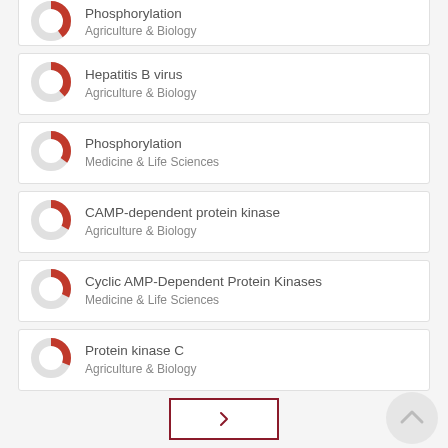Phosphorylation
Agriculture & Biology
Hepatitis B virus
Agriculture & Biology
Phosphorylation
Medicine & Life Sciences
CAMP-dependent protein kinase
Agriculture & Biology
Cyclic AMP-Dependent Protein Kinases
Medicine & Life Sciences
Protein kinase C
Agriculture & Biology